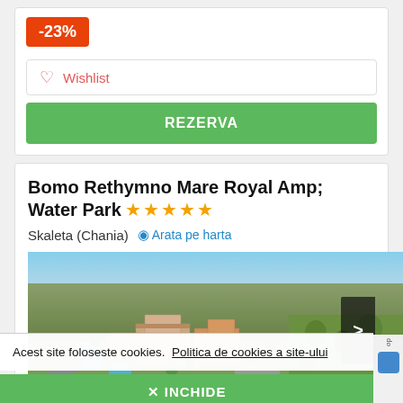-23%
♡ Wishlist
REZERVA
Bomo Rethymno Mare Royal Amp; Water Park ★★★★★
Skaleta (Chania)   📍 Arata pe harta
[Figure (photo): Aerial view of Bomo Rethymno Mare Royal Amp Water Park hotel complex with buildings, pools, and surrounding vegetation in Skaleta Chania]
Acest site foloseste cookies.  Politica de cookies a site-ului
× INCHIDE